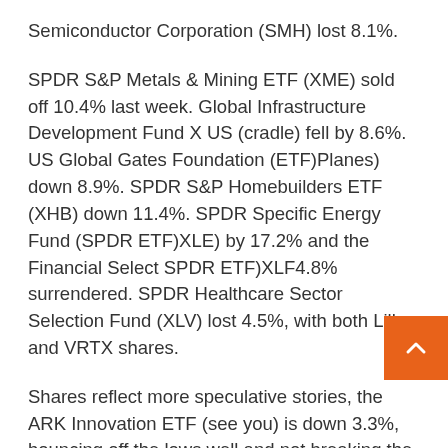Semiconductor Corporation (SMH) lost 8.1%.
SPDR S&P Metals & Mining ETF (XME) sold off 10.4% last week. Global Infrastructure Development Fund X US (cradle) fell by 8.6%. US Global Gates Foundation (ETF)Planes) down 8.9%. SPDR S&P Homebuilders ETF (XHB) down 11.4%. SPDR Specific Energy Fund (SPDR ETF)XLE) by 17.2% and the Financial Select SPDR ETF)XLF4.8% surrendered. SPDR Healthcare Sector Selection Fund (XLV) lost 4.5%, with both Lilly and VRTX shares.
Shares reflect more speculative stories, the ARK Innovation ETF (see you) is down 3.3%, bouncing off the lows well and not breaking the lows in late Ma ARK Genomics ETF (ARKG) is down just under 1% hitting a two-year low. Tesla remains a major